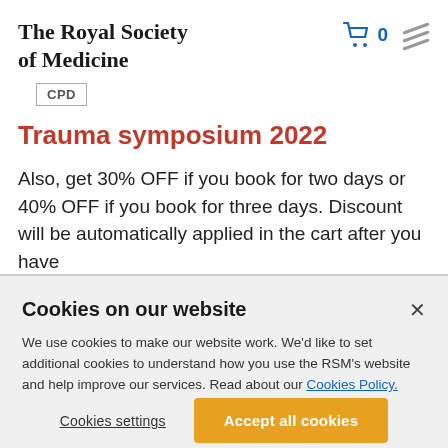The Royal Society of Medicine
CPD
Trauma symposium 2022
Also, get 30% OFF if you book for two days or 40% OFF if you book for three days. Discount will be automatically applied in the cart after you have
Cookies on our website
We use cookies to make our website work. We'd like to set additional cookies to understand how you use the RSM's website and help improve our services. Read about our Cookies Policy.
Cookies settings
Accept all cookies